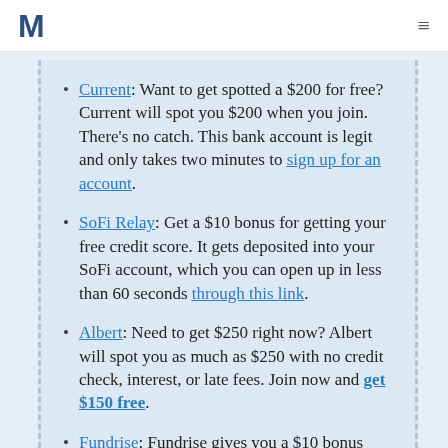M [logo] [hamburger menu]
Current: Want to get spotted a $200 for free? Current will spot you $200 when you join. There's no catch. This bank account is legit and only takes two minutes to sign up for an account.
SoFi Relay: Get a $10 bonus for getting your free credit score. It gets deposited into your SoFi account, which you can open up in less than 60 seconds through this link.
Albert: Need to get $250 right now? Albert will spot you as much as $250 with no credit check, interest, or late fees. Join now and get $150 free.
Fundrise: Fundrise gives you a $10 bonus upon account approval. Testing this offer, I got the